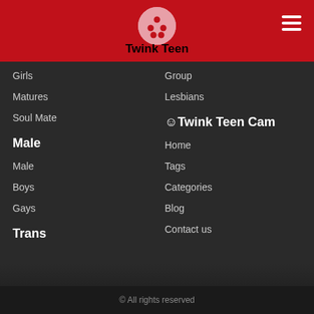[Figure (logo): Pink circle with red dots (logo icon) above site title Twink Teen on red header background]
Twink Teen
Girls
Matures
Soul Mate
Group
Lesbians
Male
☺Twink Teen Cam
Male
Boys
Gays
Home
Tags
Categories
Blog
Contact us
Trans
© All rights reserved